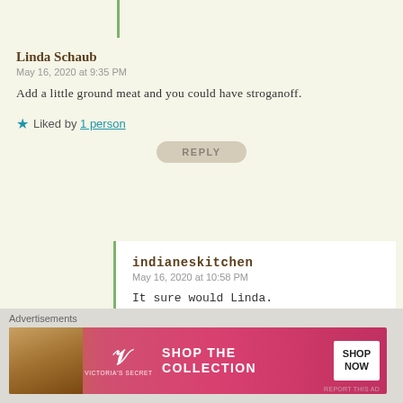[clipped reply button at top]
Linda Schaub
May 16, 2020 at 9:35 PM
Add a little ground meat and you could have stroganoff.
Liked by 1 person
REPLY
indianeskitchen
May 16, 2020 at 10:58 PM
It sure would Linda.
Liked by 1 person
REPLY
Advertisements
[Figure (photo): Victoria's Secret advertisement banner: 'SHOP THE COLLECTION' with 'SHOP NOW' button and VS logo]